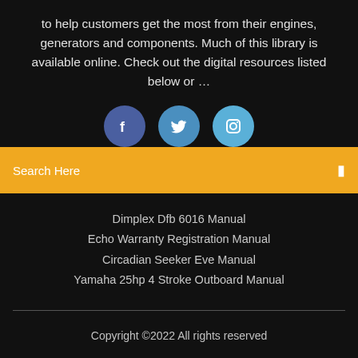to help customers get the most from their engines, generators and components. Much of this library is available online. Check out the digital resources listed below or …
[Figure (illustration): Three social media icon circles: Facebook (dark blue), Twitter (medium blue), Instagram (light blue)]
Search Here
Dimplex Dfb 6016 Manual
Echo Warranty Registration Manual
Circadian Seeker Eve Manual
Yamaha 25hp 4 Stroke Outboard Manual
Copyright ©2022 All rights reserved